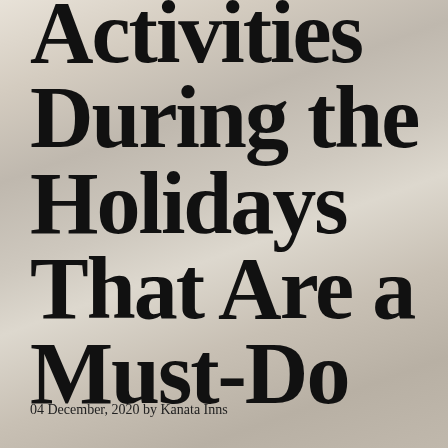Activities During the Holidays That Are a Must-Do
04 December, 2020 by Kanata Inns